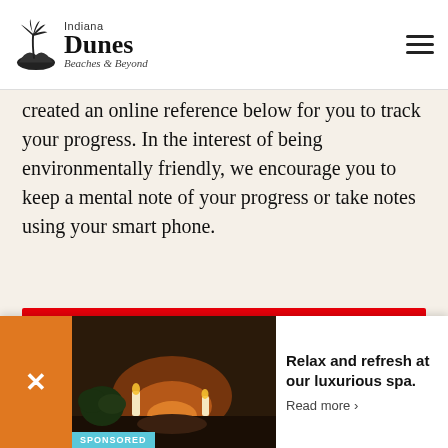[Figure (logo): Indiana Dunes Beaches & Beyond logo with palm/dune icon]
created an online reference below for you to track your progress. In the interest of being environmentally friendly, we encourage you to keep a mental note of your progress or take notes using your smart phone.
Do not harvest any flowers!
Be sure to tag @indianadunes and use
[Figure (infographic): Advertisement overlay: spa photo with text 'Relax and refresh at our luxurious spa. Read more ›' and SPONSORED label, orange close button with X]